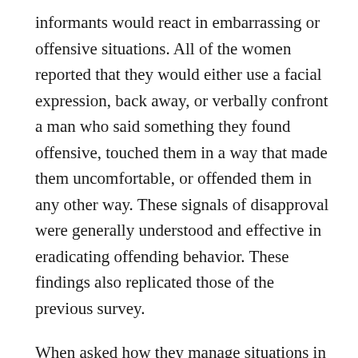informants would react in embarrassing or offensive situations. All of the women reported that they would either use a facial expression, back away, or verbally confront a man who said something they found offensive, touched them in a way that made them uncomfortable, or offended them in any other way. These signals of disapproval were generally understood and effective in eradicating offending behavior. These findings also replicated those of the previous survey.
When asked how they manage situations in which students crossed the line of decency, most informants agreed they would reprimand students who used terms such as "fag" in description of homosexuals, or commented on another student's body type or sex